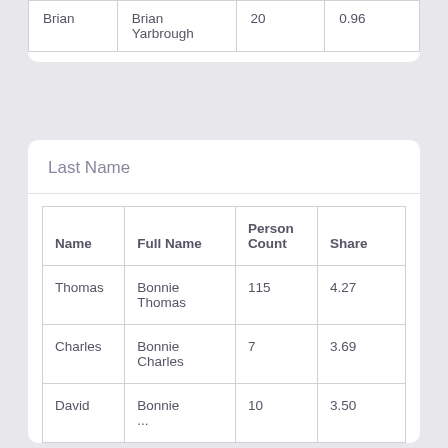| Name | Full Name | Person Count | Share |
| --- | --- | --- | --- |
| Brian | Brian Yarbrough | 20 | 0.96 |
Last Name
| Name | Full Name | Person Count | Share |
| --- | --- | --- | --- |
| Thomas | Bonnie Thomas | 115 | 4.27 |
| Charles | Bonnie Charles | 7 | 3.69 |
| David | Bonnie ... | 10 | 3.50 |